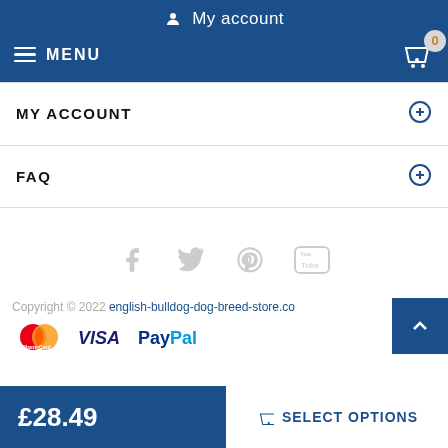My account
MENU
MY ACCOUNT
FAQ
[Figure (illustration): Social media icons: Facebook, Twitter, Pinterest, YouTube]
Copyright © 2022 english-bulldog-dog-breed-store.co
[Figure (illustration): Payment method logos: MasterCard, VISA, PayPal]
£28.49
SELECT OPTIONS